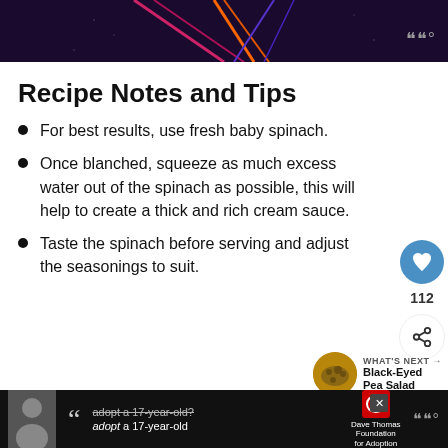[Figure (illustration): Dark purple background with colorful diagonal lines (pink, orange, blue) creating a retro geometric pattern]
Recipe Notes and Tips
For best results, use fresh baby spinach.
Once blanched, squeeze as much excess water out of the spinach as possible, this will help to create a thick and rich cream sauce.
Taste the spinach before serving and adjust the seasonings to suit.
More Vegetable Side Dishes